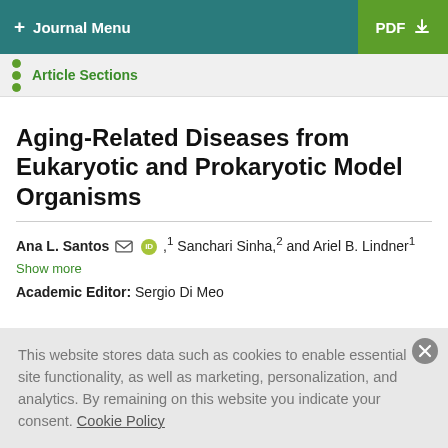+ Journal Menu  PDF ↓
Article Sections
Aging-Related Diseases from Eukaryotic and Prokaryotic Model Organisms
Ana L. Santos, Sanchari Sinha,2 and Ariel B. Lindner1
Show more
Academic Editor: Sergio Di Meo
This website stores data such as cookies to enable essential site functionality, as well as marketing, personalization, and analytics. By remaining on this website you indicate your consent. Cookie Policy